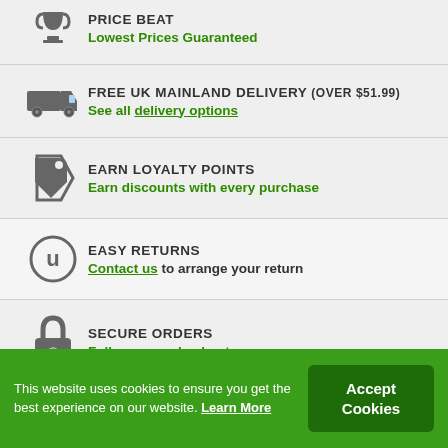PRICE BEAT
Lowest Prices Guaranteed
FREE UK MAINLAND DELIVERY (OVER $51.99)
See all delivery options
EARN LOYALTY POINTS
Earn discounts with every purchase
EASY RETURNS
Contact us to arrange your return
SECURE ORDERS
Fully secure checkout
This website uses cookies to ensure you get the best experience on our website. Learn More